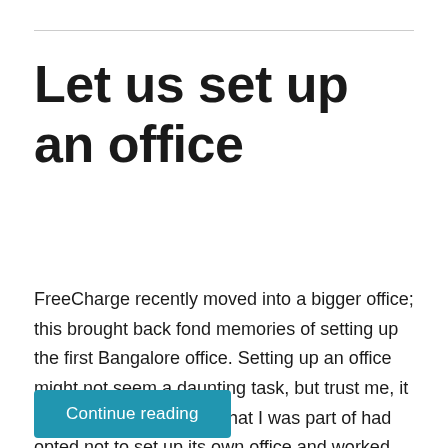Let us set up an office
FreeCharge recently moved into a bigger office; this brought back fond memories of setting up the first Bangalore office. Setting up an office might not seem a daunting task, but trust me, it is. A previous company that I was part of had opted not to set up its own office and worked out of …
Continue reading